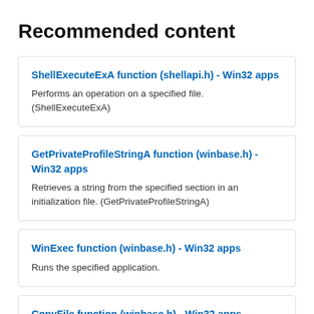Recommended content
ShellExecuteExA function (shellapi.h) - Win32 apps
Performs an operation on a specified file. (ShellExecuteExA)
GetPrivateProfileStringA function (winbase.h) - Win32 apps
Retrieves a string from the specified section in an initialization file. (GetPrivateProfileStringA)
WinExec function (winbase.h) - Win32 apps
Runs the specified application.
CopyFile function (winbase.h) - Win32 apps